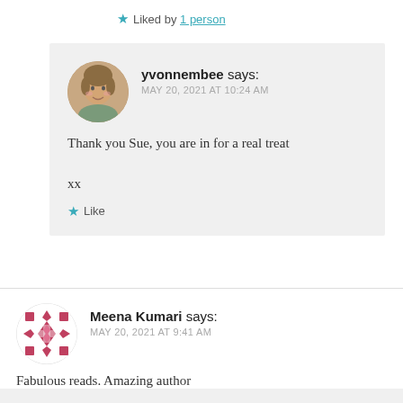★ Liked by 1 person
yvonnembee says:
MAY 20, 2021 AT 10:24 AM

Thank you Sue, you are in for a real treat

xx

★ Like
Meena Kumari says:
MAY 20, 2021 AT 9:41 AM

Fabulous reads. Amazing author

★ Liked by 1 person